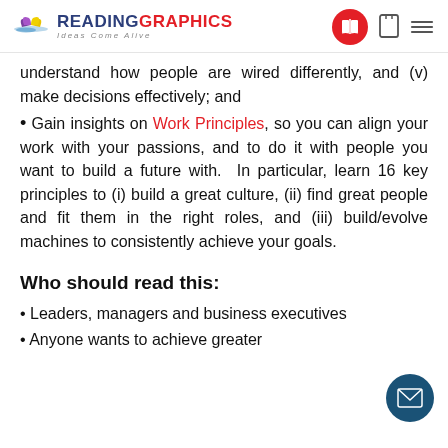READINGRAPHICS — Ideas Come Alive
understand how people are wired differently, and (v) make decisions effectively; and
Gain insights on Work Principles, so you can align your work with your passions, and to do it with people you want to build a future with. In particular, learn 16 key principles to (i) build a great culture, (ii) find great people and fit them in the right roles, and (iii) build/evolve machines to consistently achieve your goals.
Who should read this:
Leaders, managers and business executives
Anyone wants to achieve greater